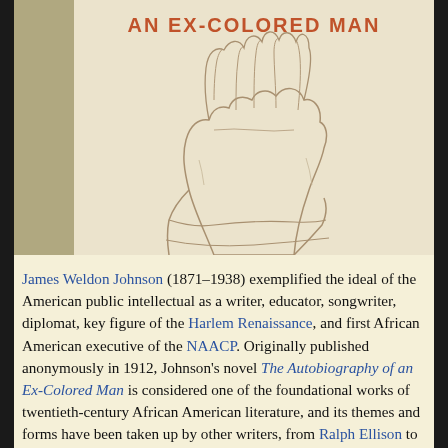[Figure (illustration): Book cover image of 'The Autobiography of an Ex-Colored Man' by James Weldon Johnson, showing a sketch of hands against a cream/tan background, with the title text visible at top in orange-red.]
James Weldon Johnson (1871–1938) exemplified the ideal of the American public intellectual as a writer, educator, songwriter, diplomat, key figure of the Harlem Renaissance, and first African American executive of the NAACP. Originally published anonymously in 1912, Johnson's novel The Autobiography of an Ex-Colored Man is considered one of the foundational works of twentieth-century African American literature, and its themes and forms have been taken up by other writers, from Ralph Ellison to Teju Cole.
Johnson's novel provocatively engages with political and cultural strains still prevalent in American discourse today, and it remains in print over a century after its initial publication. New Perspectives contains fresh essays that analyze